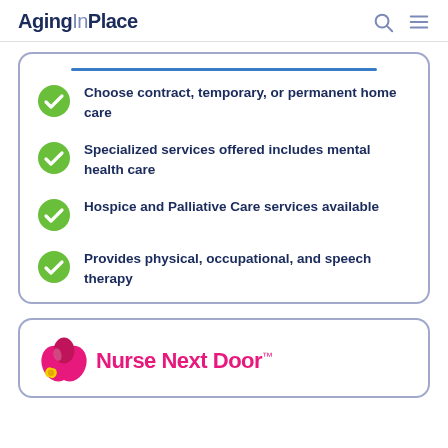AgingInPlace
Choose contract, temporary, or permanent home care
Specialized services offered includes mental health care
Hospice and Palliative Care services available
Provides physical, occupational, and speech therapy
[Figure (logo): Nurse Next Door logo with pink flower graphic]